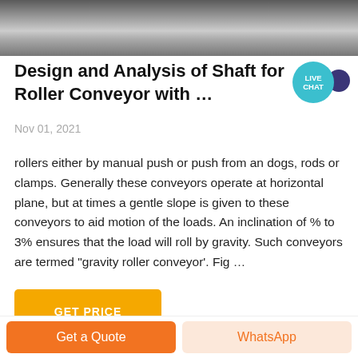[Figure (photo): Grayscale photo of a roller conveyor surface, top cropped]
Design and Analysis of Shaft for Roller Conveyor with …
Nov 01, 2021
rollers either by manual push or push from an dogs, rods or clamps. Generally these conveyors operate at horizontal plane, but at times a gentle slope is given to these conveyors to aid motion of the loads. An inclination of % to 3% ensures that the load will roll by gravity. Such conveyors are termed "gravity roller conveyor'. Fig …
GET PRICE
Get a Quote
WhatsApp